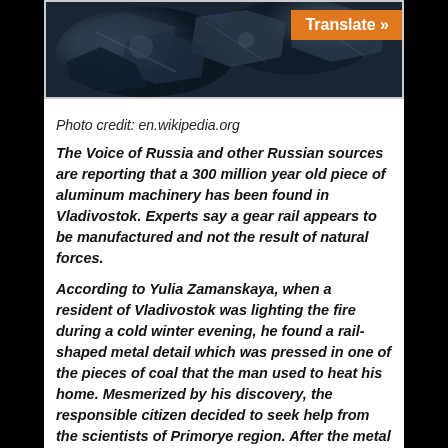[Figure (photo): Dark metallic mineral or rock specimen, possibly coal with metallic inclusions, on white background]
Photo credit: en.wikipedia.org
The Voice of Russia and other Russian sources are reporting that a 300 million year old piece of aluminum machinery has been found in Vladivostok. Experts say a gear rail appears to be manufactured and not the result of natural forces.
According to Yulia Zamanskaya, when a resident of Vladivostok was lighting the fire during a cold winter evening, he found a rail-shaped metal detail which was pressed in one of the pieces of coal that the man used to heat his home. Mesmerized by his discovery, the responsible citizen decided to seek help from the scientists of Primorye region. After the metal object was studied by the leading experts the man was shocked to learn about the assumed age of his discovery: